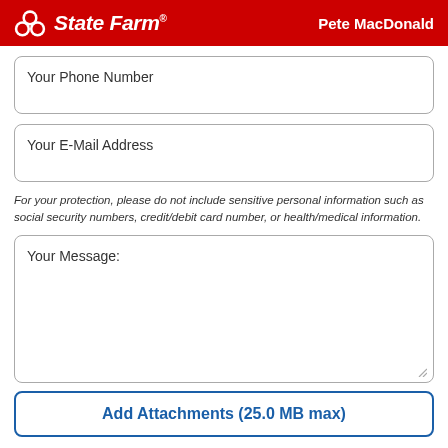State Farm — Pete MacDonald
Your Phone Number
Your E-Mail Address
For your protection, please do not include sensitive personal information such as social security numbers, credit/debit card number, or health/medical information.
Your Message:
Add Attachments (25.0 MB max)